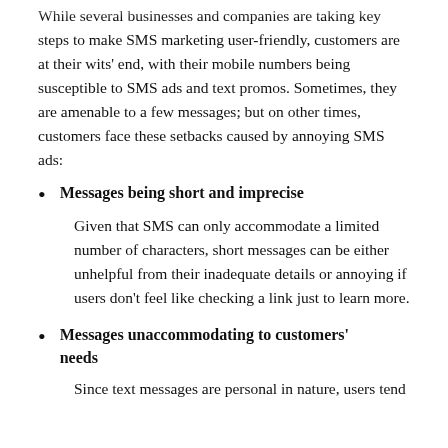While several businesses and companies are taking key steps to make SMS marketing user-friendly, customers are at their wits' end, with their mobile numbers being susceptible to SMS ads and text promos. Sometimes, they are amenable to a few messages; but on other times, customers face these setbacks caused by annoying SMS ads:
Messages being short and imprecise
Given that SMS can only accommodate a limited number of characters, short messages can be either unhelpful from their inadequate details or annoying if users don't feel like checking a link just to learn more.
Messages unacommodating to customers' needs
Since text messages are personal in nature, users tend